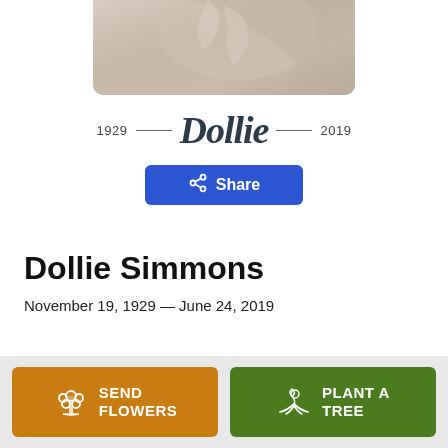[Figure (photo): Partial photo of a person wearing a light-colored garment, cropped at top]
1929 — Dollie — 2019
[Figure (other): Blue Share button with share icon]
Dollie Simmons
November 19, 1929 — June 24, 2019
[Figure (other): Send Flowers button (orange) and Plant a Tree button (green) in bottom bar]